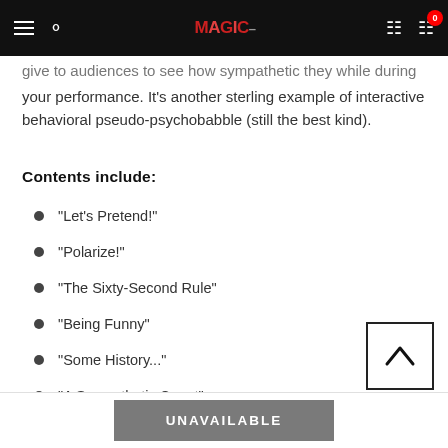MAGIC [logo] navigation bar with hamburger, search, user, cart (0)
give to audiences to see how sympathetic they while during your performance. It's another sterling example of interactive behavioral pseudo-psychobabble (still the best kind).
Contents include:
"Let's Pretend!"
"Polarize!"
"The Sixty-Second Rule"
"Being Funny"
"Some History..."
"A Sympathetic Count"
"A Sympathetic Knot"
UNAVAILABLE